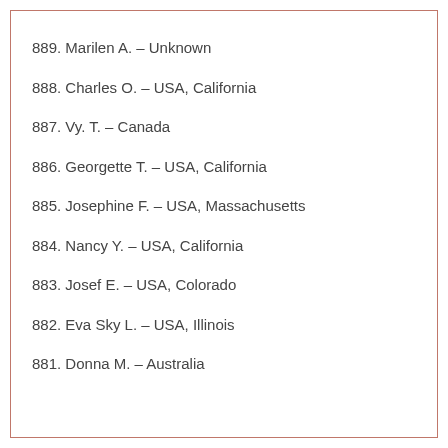889. Marilen A. – Unknown
888. Charles O. – USA, California
887. Vy. T. – Canada
886. Georgette T. – USA, California
885. Josephine F. – USA, Massachusetts
884. Nancy Y. – USA, California
883. Josef E. – USA, Colorado
882. Eva Sky L. – USA, Illinois
881. Donna M. – Australia